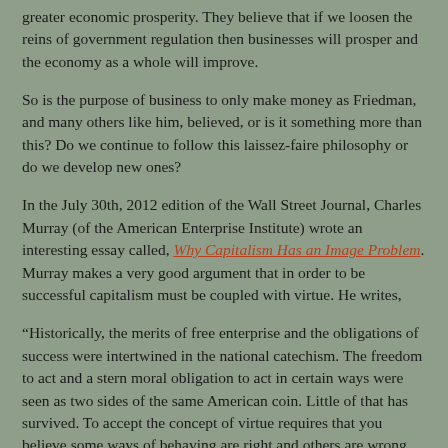greater economic prosperity.  They believe that if we loosen the reins of government regulation then businesses will prosper and the economy as a whole will improve.
So is the purpose of business to only make money as Friedman, and many others like him, believed, or is it something more than this?  Do we continue to follow this laissez-faire philosophy or do we develop new ones?
In the July 30th, 2012 edition of the Wall Street Journal, Charles Murray (of the American Enterprise Institute) wrote an interesting essay called, Why Capitalism Has an Image Problem.  Murray makes a very good argument that in order to be successful capitalism must be coupled with virtue.  He writes,
“Historically, the merits of free enterprise and the obligations of success were intertwined in the national catechism.  The freedom to act and a stern moral obligation to act in certain ways were seen as two sides of the same American coin.  Little of that has survived.  To accept the concept of virtue requires that you believe some ways of behaving are right and others are wrong always and everywhere.  Correspondingly, we have watched the deterioration of the sense of stewardship that once was so widespread among the